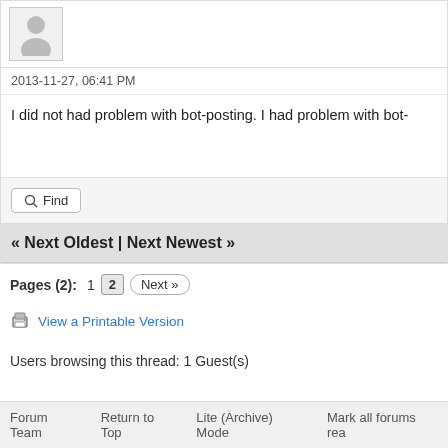[Figure (illustration): Default user avatar silhouette in a grey bordered box]
2013-11-27, 06:41 PM
I did not had problem with bot-posting. I had problem with bot-
Find
« Next Oldest | Next Newest »
Pages (2):  1  2  Next »
View a Printable Version
Users browsing this thread: 1 Guest(s)
Forum Team   Return to Top   Lite (Archive) Mode   Mark all forums rea